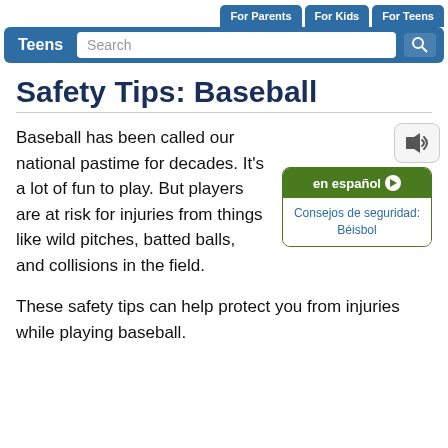For Parents | For Kids | For Teens
Teens Search
Safety Tips: Baseball
Baseball has been called our national pastime for decades. It's a lot of fun to play. But players are at risk for injuries from things like wild pitches, batted balls, and collisions in the field.
en español — Consejos de seguridad: Béisbol
These safety tips can help protect you from injuries while playing baseball.